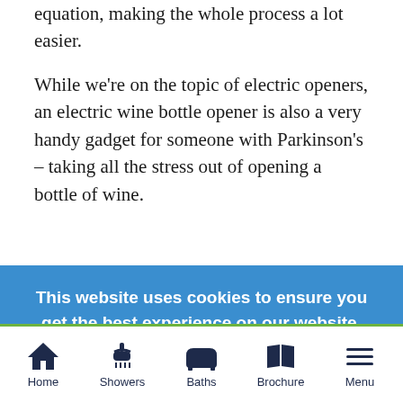equation, making the whole process a lot easier.
While we're on the topic of electric openers, an electric wine bottle opener is also a very handy gadget for someone with Parkinson's – taking all the stress out of opening a bottle of wine.
This website uses cookies to ensure you get the best experience on our website. Find Out More
CLOSE
Home  Showers  Baths  Brochure  Menu